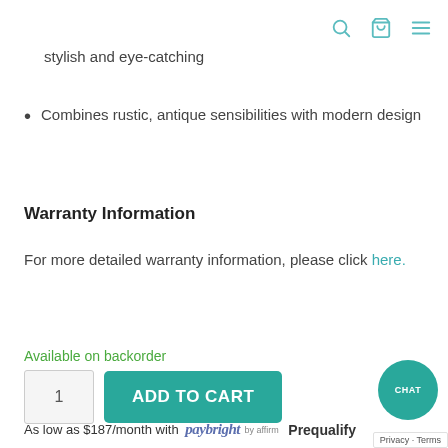[navigation icons: search, cart, menu]
stylish and eye-catching
Combines rustic, antique sensibilities with modern design
Warranty Information
For more detailed warranty information, please click here.
Available on backorder
1   ADD TO CART
As low as $187/month with paybright by affirm Prequalify